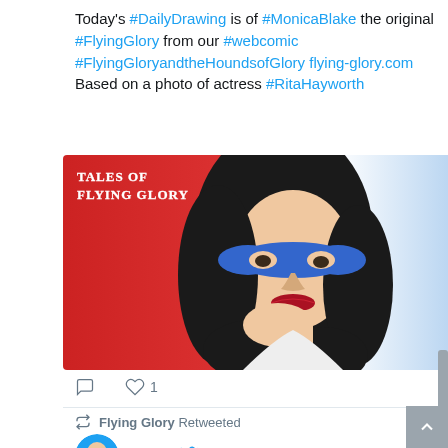Today's #DailyDrawing is of #MonicaBlake the original #FlyingGlory from our #webcomic #FlyingGloryandtheHoundsofGlory flying-glory.com Based on a photo of actress #RitaHayworth
[Figure (illustration): Comic book style illustration titled 'TALES OF FLYING GLORY' showing a woman with dark curly hair wearing a blue mask, on a red and white background]
♡ 1
Flying Glory Retweeted
Kev...